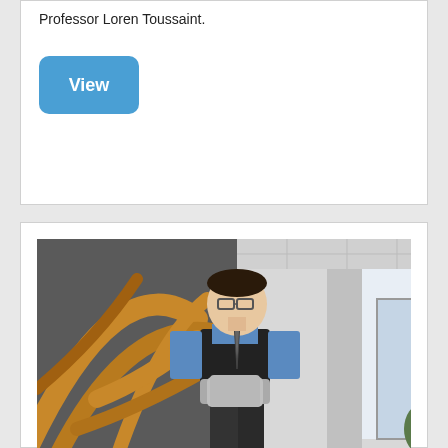Professor Loren Toussaint.
[Figure (other): Blue rounded rectangle button labeled 'View']
[Figure (photo): A man wearing glasses, a black vest over a blue shirt, holding a metal cylinder, standing in a hallway with a large decorative wooden sculpture behind him.]
Forgiveness stops rumination
Do you ever go over and over a painful moment in your mind? Learn how forgiveness can stop this cycle.